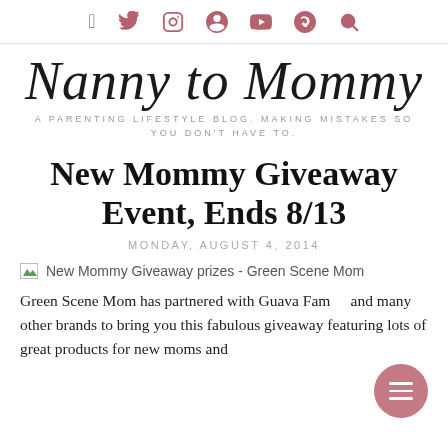Social media icons: Facebook, Twitter, Instagram, Pinterest, YouTube, Snapchat, Search
Nanny to Mommy
A PARENTING LIFESTYLE BLOG. MAKING MISTAKES SO YOU DON'T HAVE TO.
New Mommy Giveaway Event, Ends 8/13
MONDAY, AUGUST 4, 2014
[Figure (photo): Broken image placeholder with alt text: New Mommy Giveaway prizes - Green Scene Mom]
Green Scene Mom has partnered with Guava Family and many other brands to bring you this fabulous giveaway featuring lots of great products for new moms and